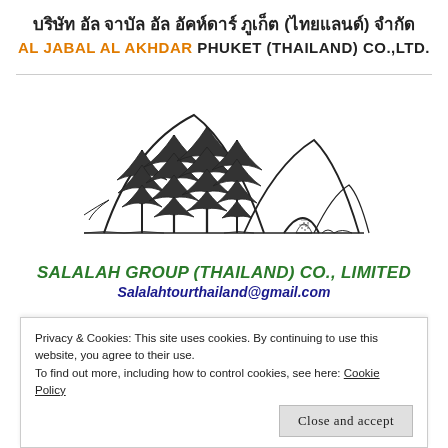บริษัท อัล จาบัล อัล อัคห์ดาร์ ภูเก็ต (ไทยแลนด์) จำกัด
AL JABAL AL AKHDAR PHUKET (THAILAND) CO.,LTD.
[Figure (logo): Line drawing logo showing mountains with pine trees in the foreground and a tent, with a horizontal baseline line.]
SALALAH GROUP (THAILAND) CO., LIMITED
Salalahtourthailand@gmail.com
Privacy & Cookies: This site uses cookies. By continuing to use this website, you agree to their use.
To find out more, including how to control cookies, see here: Cookie Policy
Close and accept